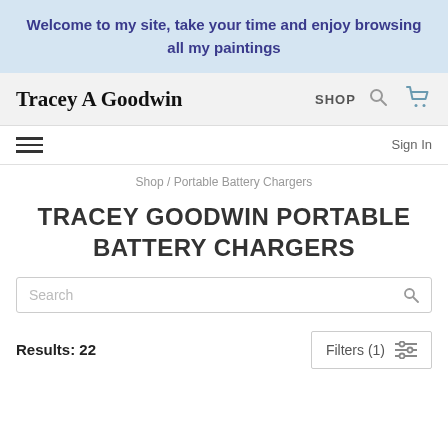Welcome to my site, take your time and enjoy browsing all my paintings
Tracey A Goodwin
SHOP
Sign In
Shop / Portable Battery Chargers
TRACEY GOODWIN PORTABLE BATTERY CHARGERS
Search
Results: 22
Filters (1)